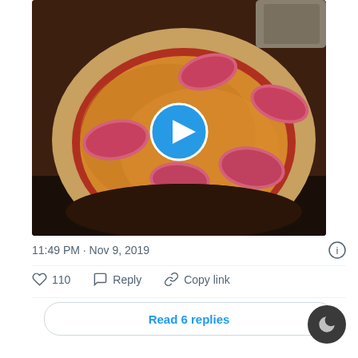[Figure (screenshot): A social media post screenshot showing a pizza with toppings and a blue video play button overlay in the center of the image. Below the image is a timestamp reading 11:49 PM · Nov 9, 2019 with an info icon. Below that is a row of action icons: heart icon with 110, reply speech bubble icon with Reply text, and a link icon with Copy link text. At the bottom is a Read 6 replies button. A dark mode toggle button is visible in the bottom right corner.]